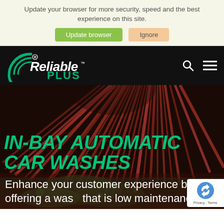Update your browser for more security, speed and the best experience on this site.
[Figure (screenshot): Two buttons: 'Update browser' (green) and 'Ignore' (peach/orange)]
[Figure (logo): Reliable Plus - A Lube-Tech Company logo in white and green on black navigation bar, with search and hamburger menu icons]
IN-BAY AUTOMATIC CAR WASHES
Enhance your customer experience by offering a was that is low maintenance,